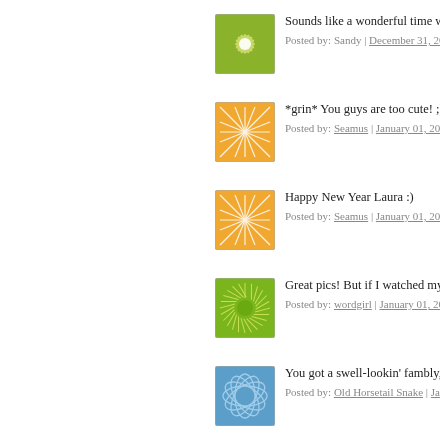[Figure (illustration): Green flower/mandala avatar icon with white starburst pattern on green background]
Sounds like a wonderful time wa
Posted by: Sandy | December 31, 2006
[Figure (illustration): Orange geometric web/lines avatar icon]
*grin* You guys are too cute! ;)
Posted by: Seamus | January 01, 2007
[Figure (illustration): Orange geometric web/lines avatar icon]
Happy New Year Laura :)
Posted by: Seamus | January 01, 2007
[Figure (illustration): Green sunburst with circle center avatar icon]
Great pics! But if I watched my b
Posted by: wordgirl | January 01, 2007
[Figure (illustration): Blue oval/leaf pattern avatar icon]
You got a swell-lookin' fambly, L
Posted by: Old Horsetail Snake | Janua